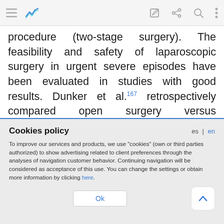Navigation bar with menu, activity, edit, share, search, more icons
procedure (two-stage surgery). The feasibility and safety of laparoscopic surgery in urgent severe episodes have been evaluated in studies with good results. Dunker et al.167 retrospectively compared open surgery versus laparoscopy in 42 patients with severe UC that underwent total colectomy with rectal mucous fistula and ileostomy and reported that
Cookies policy
To improve our services and products, we use "cookies" (own or third parties authorized) to show advertising related to client preferences through the analyses of navigation customer behavior. Continuing navigation will be considered as acceptance of this use. You can change the settings or obtain more information by clicking here.